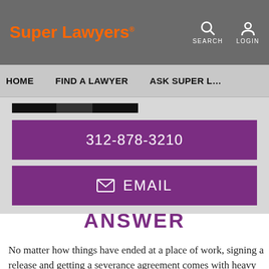Super Lawyers® | SEARCH | LOGIN
HOME | FIND A LAWYER | ASK SUPER L…
312-878-3210
EMAIL
ANSWER
No matter how things have ended at a place of work, signing a release and getting a severance agreement comes with heavy emotions and some potential confusion. For one,